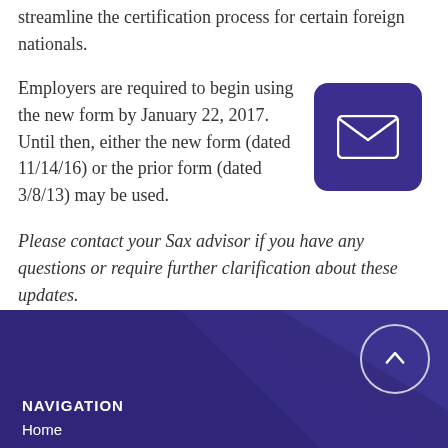streamline the certification process for certain foreign nationals.
Employers are required to begin using the new form by January 22, 2017. Until then, either the new form (dated 11/14/16) or the prior form (dated 3/8/13) may be used.
[Figure (illustration): Email envelope icon on dark purple/indigo rounded square button]
Please contact your Sax advisor if you have any questions or require further clarification about these updates.
NAVIGATION
Home